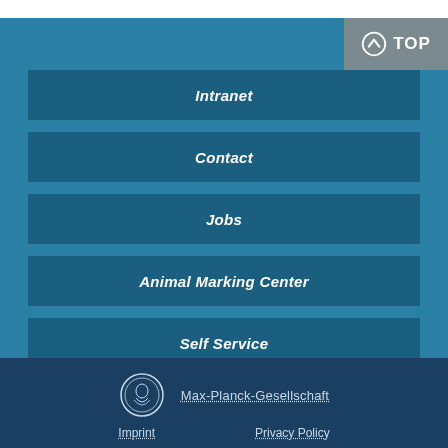Intranet
Contact
Jobs
Animal Marking Center
Self Service
Max-Planck-Gesellschaft
Imprint
Privacy Policy
© 2022 Max-Planck-Gesellschaft